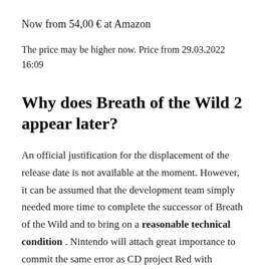Now from 54,00 € at Amazon
The price may be higher now. Price from 29.03.2022 16:09
Why does Breath of the Wild 2 appear later?
An official justification for the displacement of the release date is not available at the moment. However, it can be assumed that the development team simply needed more time to complete the successor of Breath of the Wild and to bring on a reasonable technical condition . Nintendo will attach great importance to commit the same error as CD project Red with